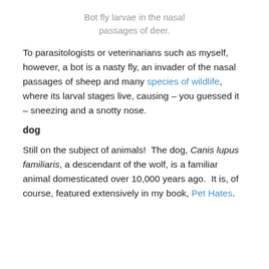Bot fly larvae in the nasal passages of deer.
To parasitologists or veterinarians such as myself, however, a bot is a nasty fly, an invader of the nasal passages of sheep and many species of wildlife, where its larval stages live, causing – you guessed it – sneezing and a snotty nose.
dog
Still on the subject of animals!  The dog, Canis lupus familiaris, a descendant of the wolf, is a familiar animal domesticated over 10,000 years ago.  It is, of course, featured extensively in my book, Pet Hates.